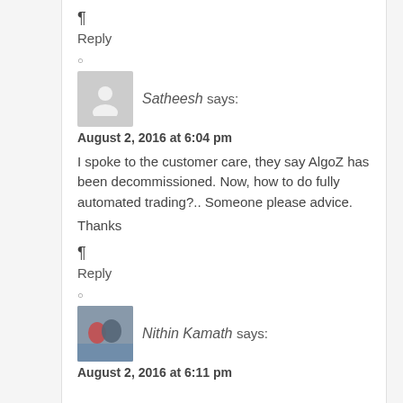¶
Reply
○
Satheesh says:
August 2, 2016 at 6:04 pm
I spoke to the customer care, they say AlgoZ has been decommissioned. Now, how to do fully automated trading?.. Someone please advice.

Thanks
¶
Reply
○
Nithin Kamath says:
August 2, 2016 at 6:11 pm